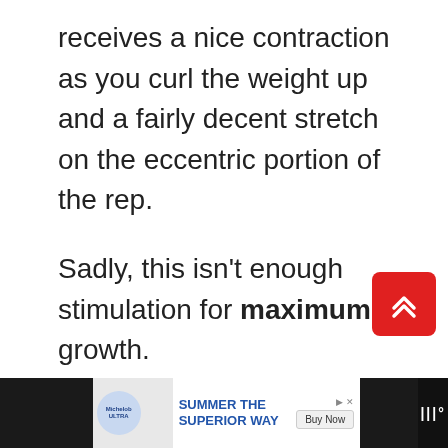receives a nice contraction as you curl the weight up and a fairly decent stretch on the eccentric portion of the rep.
Sadly, this isn't enough stimulation for maximum growth.
If you want the forearms of your dreams, then you need to isolate them with grip exercises and/or wrist curls.
[Figure (screenshot): Advertisement banner: Michelob ULTRA Summer The Superior Way with Buy Now button]